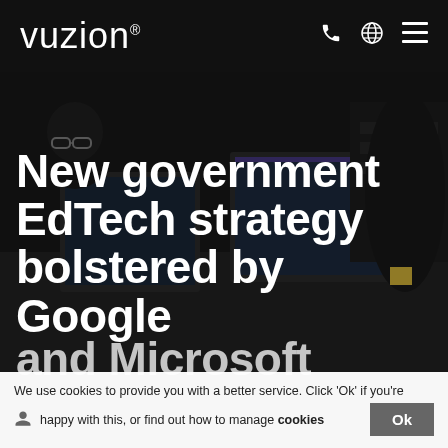vuzion
[Figure (photo): Office background showing a person wearing glasses looking at multiple computer monitors in a dark/dimly lit office environment, used as a hero image background]
New government EdTech strategy bolstered by Google and Microsoft
We use cookies to provide you with a better service. Click 'Ok' if you're happy with this, or find out how to manage cookies